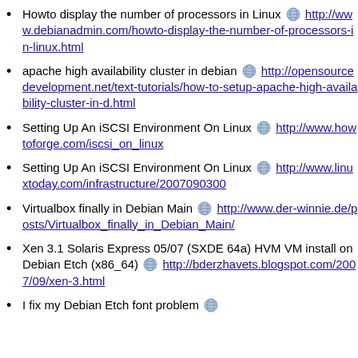Howto display the number of processors in Linux http://www.debianadmin.com/howto-display-the-number-of-processors-in-linux.html
apache high availability cluster in debian http://opensourcedevelopment.net/text-tutorials/how-to-setup-apache-high-availability-cluster-in-d.html
Setting Up An iSCSI Environment On Linux http://www.howtoforge.com/iscsi_on_linux
Setting Up An iSCSI Environment On Linux http://www.linuxtoday.com/infrastructure/2007090300
Virtualbox finally in Debian Main http://www.der-winnie.de/posts/Virtualbox_finally_in_Debian_Main/
Xen 3.1 Solaris Express 05/07 (SXDE 64a) HVM VM install on Debian Etch (x86_64) http://bderzhavets.blogspot.com/2007/09/xen-3.html
I fix my Debian Etch font problem